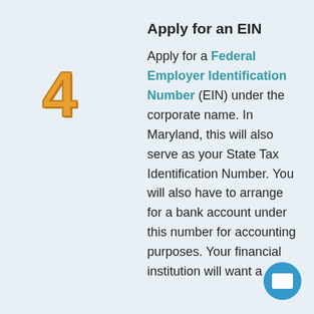Apply for an EIN
[Figure (illustration): Large orange number 4 serving as a step indicator]
Apply for a Federal Employer Identification Number (EIN) under the corporate name. In Maryland, this will also serve as your State Tax Identification Number. You will also have to arrange for a bank account under this number for accounting purposes. Your financial institution will want a copy of the EIN as well.
[Figure (other): Blue circular email/contact button with envelope icon in bottom right corner]